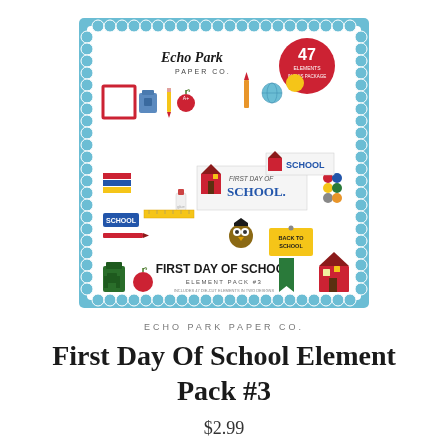[Figure (photo): Echo Park Paper Co. First Day Of School Element Pack #3 product packaging image showing a scrapbooking element pack with colorful school-themed stickers and die-cuts including school supplies, a schoolhouse, owl, and text elements like 'First Day of School'. Features a blue border with scalloped white inner border and circular badge reading '47 Elements'.]
ECHO PARK PAPER CO.
First Day Of School Element Pack #3
$2.99